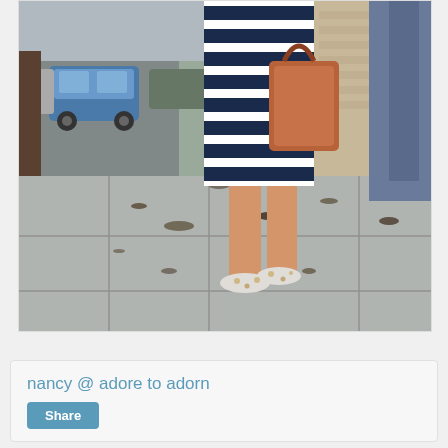[Figure (photo): A person wearing a navy and white horizontal striped dress, carrying a tan/brown leather tote bag, wearing leopard print sneakers, walking on a sidewalk. Cars are parked on the street to the left, and a building wall is visible on the right background.]
nancy @ adore to adorn
Share